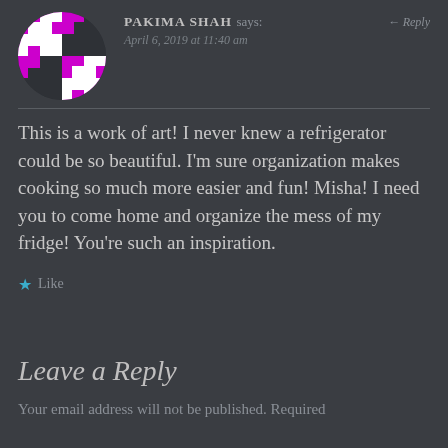[Figure (illustration): Circular avatar with a white and magenta geometric/snowflake-like pattern on dark background]
PAKIMA SHAH says:
← Reply
April 6, 2019 at 11:40 am
This is a work of art! I never knew a refrigerator could be so beautiful. I'm sure organization makes cooking so much more easier and fun! Misha! I need you to come home and organize the mess of my fridge! You're such an inspiration.
★ Like
Leave a Reply
Your email address will not be published. Required